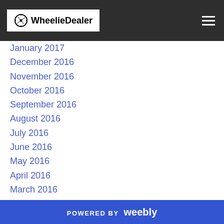WheelieDealer
January 2017
December 2016
November 2016
October 2016
September 2016
August 2016
July 2016
June 2016
May 2016
April 2016
March 2016
February 2016
January 2016
December 2015
November 2015
October 2015
POWERED BY weebly